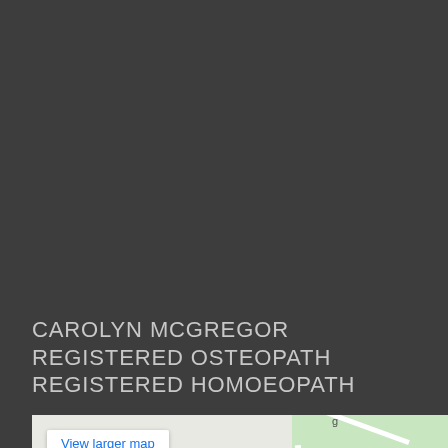CAROLYN MCGREGOR REGISTERED OSTEOPATH REGISTERED HOMOEOPATH
[Figure (map): Google Maps embed showing location of Cowdray Hall with a red map pin marker. A 'View larger map' button appears in the top-left corner of the map. The map shows roads and a green area, with labels for 'Cowdray Hall' and 'ebourne'.]